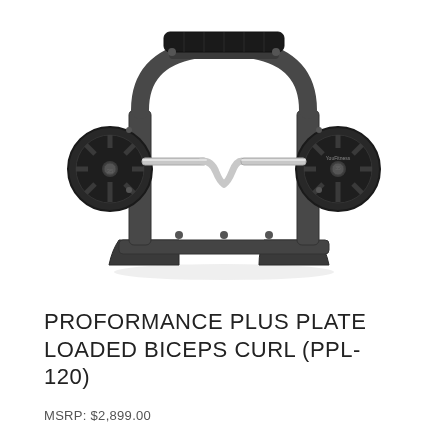[Figure (photo): Photo of the Proformance Plus Plate Loaded Biceps Curl machine (PPL-120). A dark gray/black plate-loaded preacher curl machine with two weight plates on each side, chrome curl bar in the center, padded elbow rest on top, and a sturdy wide base frame. Shot on white background.]
PROFORMANCE PLUS PLATE LOADED BICEPS CURL (PPL-120)
MSRP: $2,899.00